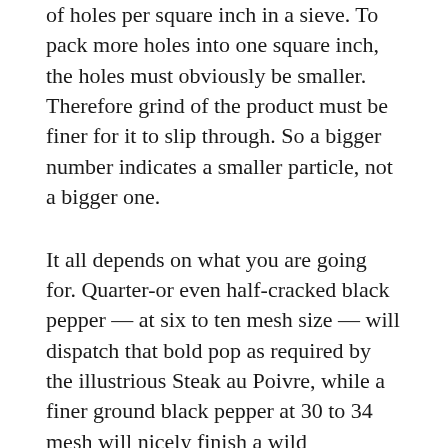of holes per square inch in a sieve. To pack more holes into one square inch, the holes must obviously be smaller. Therefore grind of the product must be finer for it to slip through. So a bigger number indicates a smaller particle, not a bigger one.
It all depends on what you are going for. Quarter-or even half-cracked black pepper — at six to ten mesh size — will dispatch that bold pop as required by the illustrious Steak au Poivre, while a finer ground black pepper at 30 to 34 mesh will nicely finish a wild mushroom Madeira or Burgundy sauce. A fine black pepper will help season but get lost on a cooking rib roast, and coarse ground pepper can overpower a delicate piccata or even Marsala, so any chef knows it is important to keep the proper inventory on hand